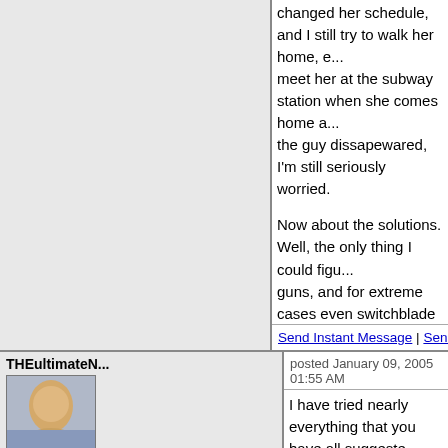changed her schedule, and I still try to walk her home, e... meet her at the subway station when she comes home a... the guy dissapewared, I'm still seriously worried.

Now about the solutions. Well, the only thing I could figu... guns, and for extreme cases even switchblade knives. T... presents, and they're very practical. Get your girlfriend a... gun if you have the money. They offer some degree of s... against fear. And try to walk her home every night.

Other sugestions are welcome. Please, everybody contr... how horrible it is to worry everyday for the saftey of your... every hour to make sure she gets home safely.

What can you expect from a world where everybody live... afraid to commit suicide?
Send Instant Message | Send E-Mail | View Profile | Quote Re...
THEultimateN...
★★
Tavern Dweller
posted January 09, 2005 01:55 AM
I have tried nearly everything that you have all suggeste... and has the tendency to get very stubborn and pig-head... that she's fine and nothing bad will happen. Perhaps I'm... come to an agreement with me on her personal safety, p... paranoid about harm coming to her. *Sighs* Oh the frust... me through. Perhaps that's why I love her so much...